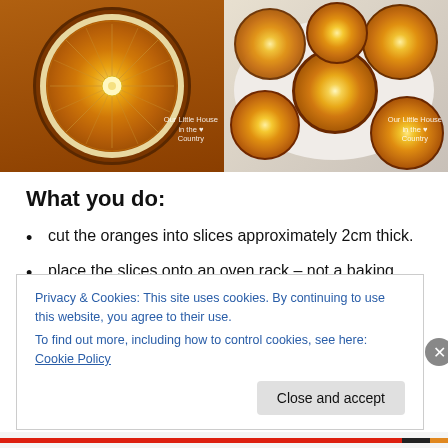[Figure (photo): Two photos side by side: left shows a close-up of a dried orange slice cross-section with watermark 'Our Little House in the Country'; right shows multiple dried orange slices piled on a white plate with same watermark.]
What you do:
cut the oranges into slices approximately 2cm thick.
place the slices onto an oven rack – not a baking tray as they will stick and burn!
Privacy & Cookies: This site uses cookies. By continuing to use this website, you agree to their use.
To find out more, including how to control cookies, see here: Cookie Policy
Close and accept